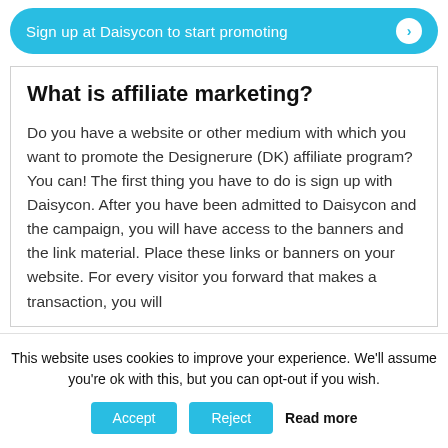[Figure (other): Cyan rounded button bar with text 'Sign up at Daisycon to start promoting' and a white circle arrow icon]
What is affiliate marketing?
Do you have a website or other medium with which you want to promote the Designerure (DK) affiliate program? You can! The first thing you have to do is sign up with Daisycon. After you have been admitted to Daisycon and the campaign, you will have access to the banners and the link material. Place these links or banners on your website. For every visitor you forward that makes a transaction, you will
This website uses cookies to improve your experience. We'll assume you're ok with this, but you can opt-out if you wish.